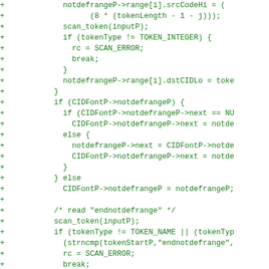[Figure (screenshot): A code diff snippet showing added lines (prefixed with +) in green monospace font on white background. The code shows C programming language logic involving notdefrangeP, CIDFontP, token scanning, and CMap operations.]